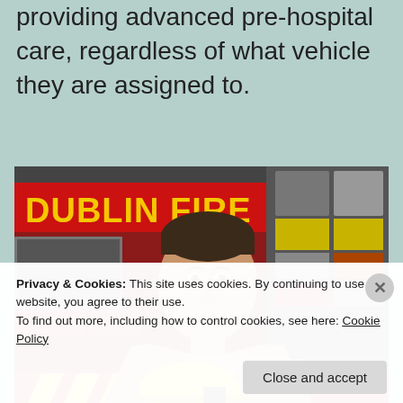providing advanced pre-hospital care, regardless of what vehicle they are assigned to.
[Figure (photo): A female firefighter in a beige/tan firefighting jacket, holding a yellow helmet, standing in front of a red Dublin Fire Brigade fire engine with yellow and red chevron markings and equipment bays visible.]
Privacy & Cookies: This site uses cookies. By continuing to use this website, you agree to their use.
To find out more, including how to control cookies, see here: Cookie Policy
Close and accept